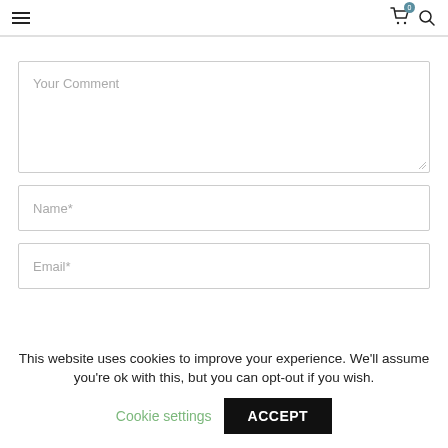≡  🛒 0  🔍
Your Comment
Name*
Email*
This website uses cookies to improve your experience. We'll assume you're ok with this, but you can opt-out if you wish.
Cookie settings
ACCEPT